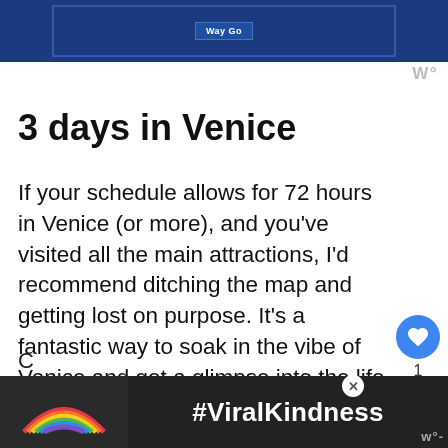[Figure (screenshot): Top advertisement banner with dark blue background]
3 days in Venice
If your schedule allows for 72 hours in Venice (or more), and you've visited all the main attractions, I'd recommend ditching the map and getting lost on purpose. It's a fantastic way to soak in the vibe of Venice and get a glimpse into the life of locals. Consider it an adventure!
[Figure (screenshot): Bottom advertisement banner with rainbow and #ViralKindness hashtag on dark background]